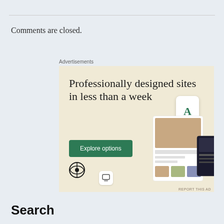Comments are closed.
Advertisements
[Figure (screenshot): WordPress advertisement showing 'Professionally designed sites in less than a week' with an 'Explore options' green button and website mockup screenshots. WordPress logo visible at bottom left.]
Search